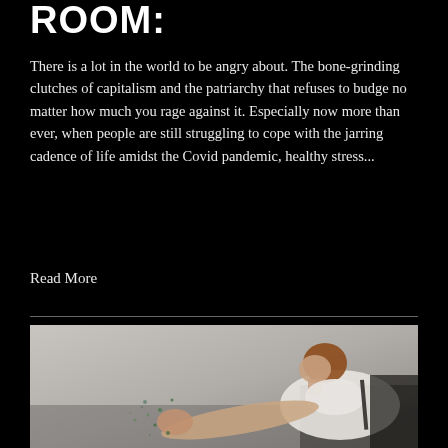ROOM:
There is a lot in the world to be angry about. The bone-grinding clutches of capitalism and the patriarchy that refuses to budge no matter how much you rage against it. Especially now more than ever, when people are still struggling to cope with the jarring cadence of life amidst the Covid pandemic, healthy stress...
Read More
[Figure (photo): A woman in a white shirt leaning forward aggressively punching or hitting something, shown in profile against a grey background, with debris/particles scattering from the impact point.]